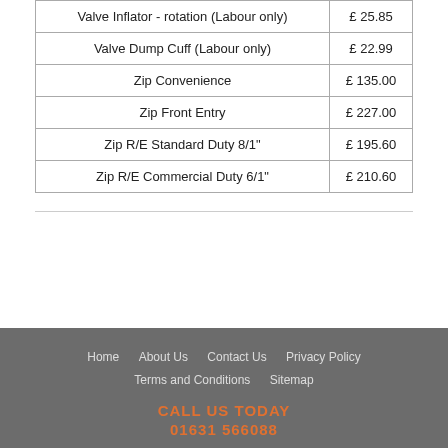| Valve Inflator - rotation (Labour only) | £ 25.85 |
| Valve Dump Cuff (Labour only) | £ 22.99 |
| Zip Convenience | £ 135.00 |
| Zip Front Entry | £ 227.00 |
| Zip R/E Standard Duty 8/1" | £ 195.60 |
| Zip R/E Commercial Duty 6/1" | £ 210.60 |
Home | About Us | Contact Us | Privacy Policy | Terms and Conditions | Sitemap
CALL US TODAY
01631 566088